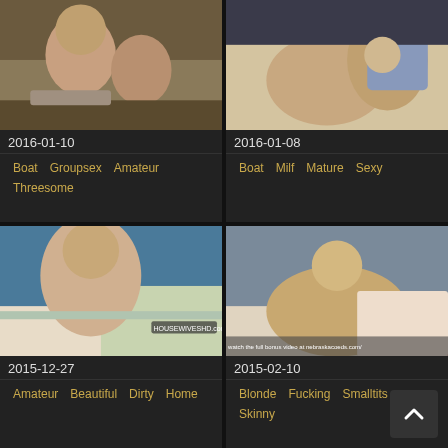[Figure (screenshot): Video thumbnail top-left, outdoor scene]
2016-01-10
Boat   Groupsex   Amateur   Threesome
[Figure (screenshot): Video thumbnail top-right, indoor scene]
2016-01-08
Boat   Milf   Mature   Sexy
[Figure (screenshot): Video thumbnail bottom-left, outdoor boat scene]
2015-12-27
Amateur   Beautiful   Dirty   Home
[Figure (screenshot): Video thumbnail bottom-right, outdoor scene]
2015-02-10
Blonde   Fucking   Smalltits   Skinny